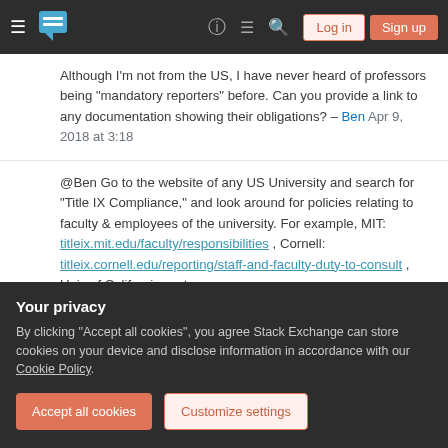Stack Exchange navigation bar with hamburger menu, logo, icons, Log in and Sign up buttons
Although I'm not from the US, I have never heard of professors being "mandatory reporters" before. Can you provide a link to any documentation showing their obligations? – Ben Apr 9, 2018 at 3:18
@Ben Go to the website of any US University and search for "Title IX Compliance," and look around for policies relating to faculty & employees of the university. For example, MIT: titleix.mit.edu/faculty/responsibilities , Cornell: titleix.cornell.edu/reporting/staff-and-faculty-duty-to-consult , Univ of California system: sexualviolence.universityofcalifornia.edu/faq/… – erfink
Your privacy
By clicking "Accept all cookies", you agree Stack Exchange can store cookies on your device and disclose information in accordance with our Cookie Policy.